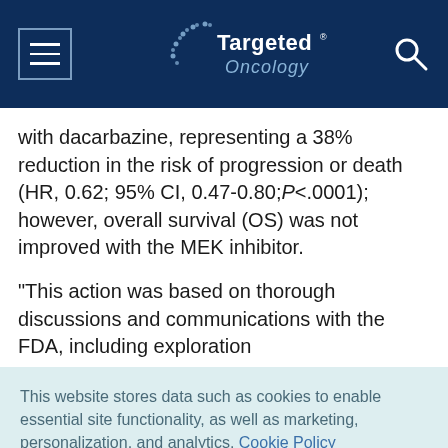Targeted Oncology
with dacarbazine, representing a 38% reduction in the risk of progression or death (HR, 0.62; 95% CI, 0.47-0.80;P<.0001); however, overall survival (OS) was not improved with the MEK inhibitor.
"This action was based on thorough discussions and communications with the FDA, including exploration
This website stores data such as cookies to enable essential site functionality, as well as marketing, personalization, and analytics. Cookie Policy
Accept
Deny